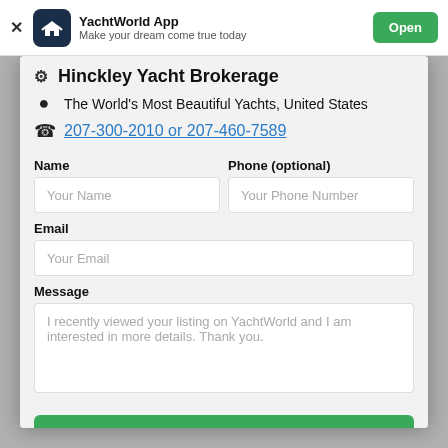YachtWorld App — Make your dream come true today
Hinckley Yacht Brokerage
The World's Most Beautiful Yachts, United States
207-300-2010 or 207-460-7589
Name | Phone (optional)
Your Name | Your Phone Number
Email
Your Email
Message
I recently viewed your listing on YachtWorld and I am interested in more details. Thank you.
Contact Broker